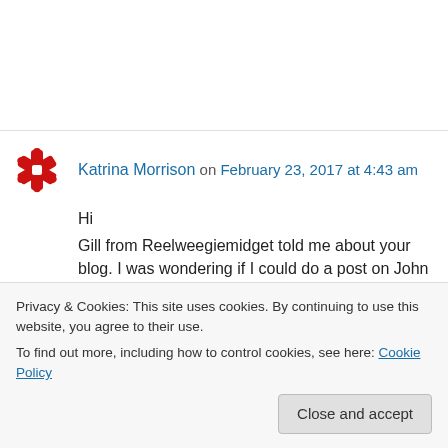Katrina Morrison on February 23, 2017 at 4:43 am
Hi
Gill from Reelweegiemidget told me about your blog. I was wondering if I could do a post on John Garfield…Honorary Avhievemment Award? If he hasn't already been taken?
Thank you 😊
Privacy & Cookies: This site uses cookies. By continuing to use this website, you agree to their use.
To find out more, including how to control cookies, see here: Cookie Policy
Close and accept
Kgothatjo Magolego on February 23, 2017 at